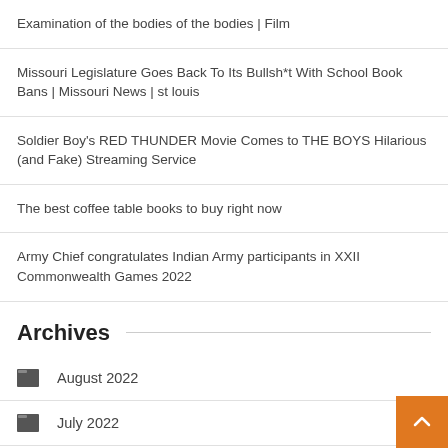Examination of the bodies of the bodies | Film
Missouri Legislature Goes Back To Its Bullsh*t With School Book Bans | Missouri News | st louis
Soldier Boy's RED THUNDER Movie Comes to THE BOYS Hilarious (and Fake) Streaming Service
The best coffee table books to buy right now
Army Chief congratulates Indian Army participants in XXII Commonwealth Games 2022
Archives
August 2022
July 2022
June 2022